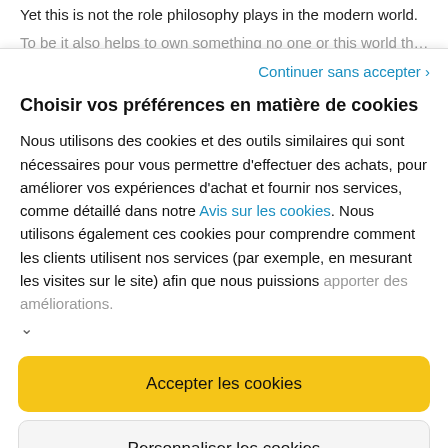Yet this is not the role philosophy plays in the modern world.
Continuer sans accepter ›
Choisir vos préférences en matière de cookies
Nous utilisons des cookies et des outils similaires qui sont nécessaires pour vous permettre d'effectuer des achats, pour améliorer vos expériences d'achat et fournir nos services, comme détaillé dans notre Avis sur les cookies. Nous utilisons également ces cookies pour comprendre comment les clients utilisent nos services (par exemple, en mesurant les visites sur le site) afin que nous puissions apporter des améliorations.
Accepter les cookies
Personnaliser les cookies